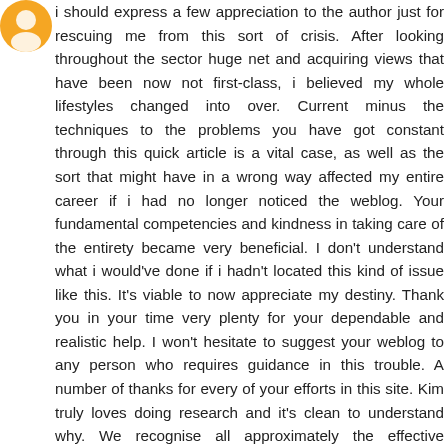[Figure (illustration): Orange circular avatar icon, partially visible in top-left corner]
i should express a few appreciation to the author just for rescuing me from this sort of crisis. After looking throughout the sector huge net and acquiring views that have been now not first-class, i believed my whole lifestyles changed into over. Current minus the techniques to the problems you have got constant through this quick article is a vital case, as well as the sort that might have in a wrong way affected my entire career if i had no longer noticed the weblog. Your fundamental competencies and kindness in taking care of the entirety became very beneficial. I don't understand what i would've done if i hadn't located this kind of issue like this. It's viable to now appreciate my destiny. Thank you in your time very plenty for your dependable and realistic help. I won't hesitate to suggest your weblog to any person who requires guidance in this trouble. A number of thanks for every of your efforts in this site. Kim truly loves doing research and it's clean to understand why. We recognise all approximately the effective approach you make useful gadgets thru your blog and as nicely reason participation from a few different human beings about this subject matter so our favorite infant is sincerely turning into knowledgeable a splendid deal. Revel in the relaxation of the 12 months. You are doing a powerful job. 🙂🙂🙂